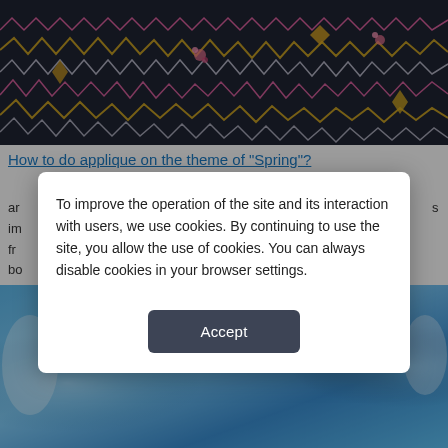[Figure (photo): Close-up photo of dark fabric with colorful embroidery stitches in pink, yellow, and white zigzag patterns on a dark navy/charcoal background.]
How to do applique on the theme of "Spring"?
ar... im... s fr... bo...
[Figure (photo): Blue-toned image strip visible behind the modal dialog, showing a blurry blue background with light gradient effects.]
To improve the operation of the site and its interaction with users, we use cookies. By continuing to use the site, you allow the use of cookies. You can always disable cookies in your browser settings.